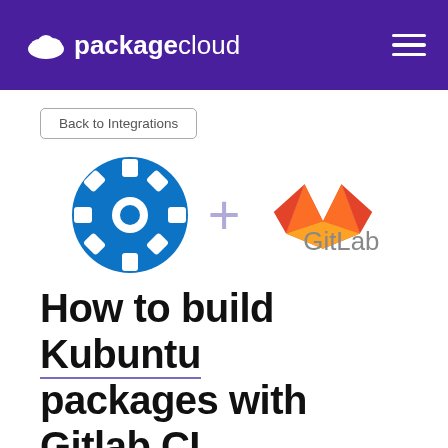packagecloud
Back to Integrations
[Figure (logo): Kubuntu gear logo and GitLab logo with a plus sign between them]
How to build Kubuntu packages with Gitlab CI.
Schedule a Demo